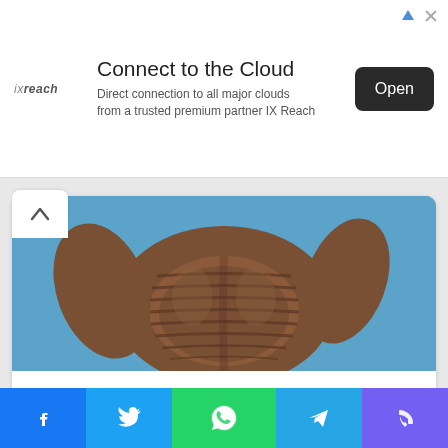[Figure (screenshot): Advertisement banner for IX Reach cloud connectivity service with logo, text, and Open button]
[Figure (photo): Cropped image of E.T. the Extra-Terrestrial alien figure torso against blue background]
Greatest Movies In History Since 1982
More...
757  189  252
[Figure (photo): Partial view of second card showing blue sky background with person wearing sunglasses]
[Figure (screenshot): Bottom social sharing bar with Facebook, Twitter, WhatsApp, Telegram, and Viber buttons]